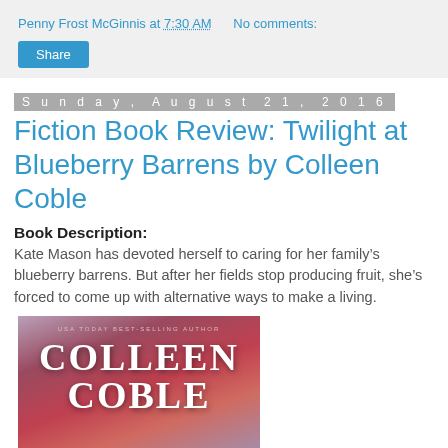Penny Frost McGinnis at 7:30 AM    No comments:
Share
Sunday, August 21, 2016
Fiction Book Review: Twilight at Blueberry Barrens by Colleen Coble
Book Description:
Kate Mason has devoted herself to caring for her family's blueberry barrens. But after her fields stop producing fruit, she's forced to come up with alternative ways to make a living.
[Figure (photo): Book cover of Twilight at Blueberry Barrens by Colleen Coble, showing author name in large white serif text on a red/purple atmospheric background, with 'USA Today Best-Selling Author' at the top.]